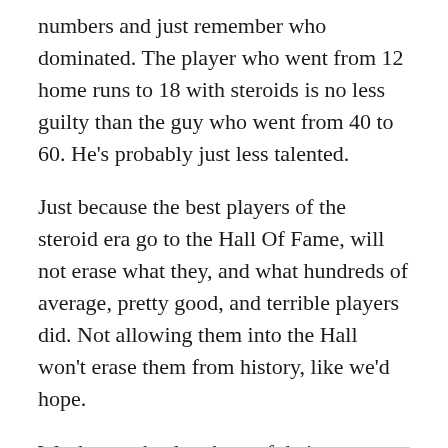numbers and just remember who dominated. The player who went from 12 home runs to 18 with steroids is no less guilty than the guy who went from 40 to 60. He's probably just less talented.
Just because the best players of the steroid era go to the Hall Of Fame, will not erase what they, and what hundreds of average, pretty good, and terrible players did. Not allowing them into the Hall won't erase them from history, like we'd hope.
We do not absolve them of their wrongdoing by acknowledging their greatness.
They were playing by different rules. They all were. Remember? We were the ones who let them.